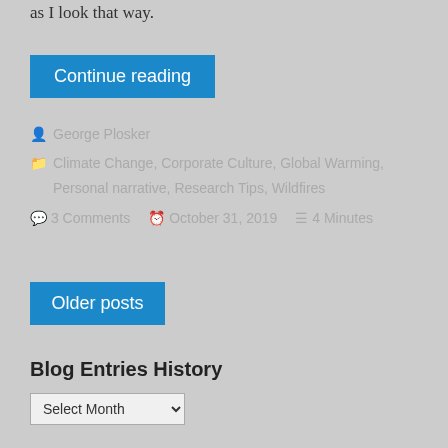as I look that way.
Continue reading
George Plosker
Climate Change, Corporate Culture, Global Warming, Personal narrative, Research Tips, Wildfires
3 Comments   October 31, 2019   4 Minutes
Older posts
Blog Entries History
Select Month